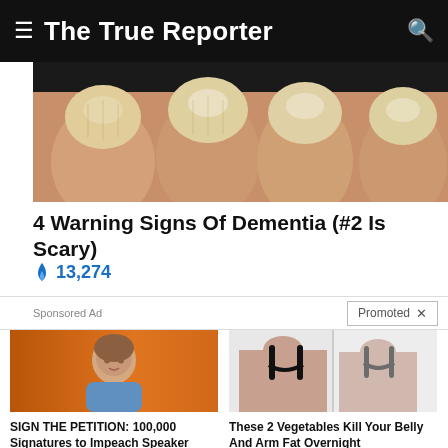The True Reporter
[Figure (photo): Close-up photo of yellowed/discolored fingernails against dark background]
4 Warning Signs Of Dementia (#2 Is Scary)
🔥 13,274
Sponsored Ad
Promoted ×
[Figure (photo): Photo of a woman (Nancy Pelosi) in blue jacket against orange background]
SIGN THE PETITION: 100,000 Signatures to Impeach Speaker Nancy Pelosi
🔥 57,270
[Figure (photo): Before and after photo showing two women's backs in black swimwear]
These 2 Vegetables Kill Your Belly And Arm Fat Overnight
🔥 168,773